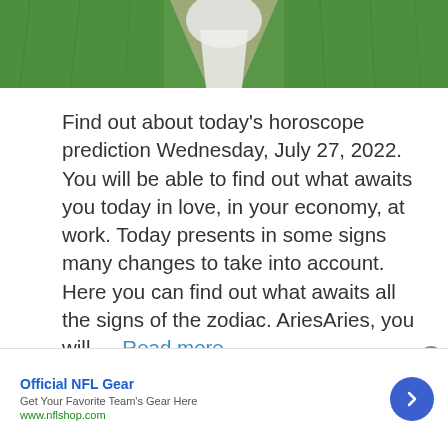[Figure (photo): Photo of a path through green fields with white/light figure, viewed from above]
Find out about today's horoscope prediction Wednesday, July 27, 2022. You will be able to find out what awaits you today in love, in your economy, at work. Today presents in some signs many changes to take into account. Here you can find out what awaits all the signs of the zodiac. AriesAries, you will … Read more
Astrology
2022, 27th july, daily, today
Official NFL Gear
Get Your Favorite Team's Gear Here
www.nflshop.com